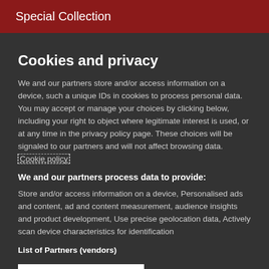Special Collection
Cookies and privacy
We and our partners store and/or access information on a device, such a unique IDs in cookies to process personal data. You may accept or manage your choices by clicking below, including your right to object where legitimate interest is used, or at any time in the privacy policy page. These choices will be signaled to our partners and will not affect browsing data. Cookie policy
We and our partners process data to provide:
Store and/or access information on a device, Personalised ads and content, ad and content measurement, audience insights and product development, Use precise geolocation data, Actively scan device characteristics for identification
List of Partners (vendors)
I Accept